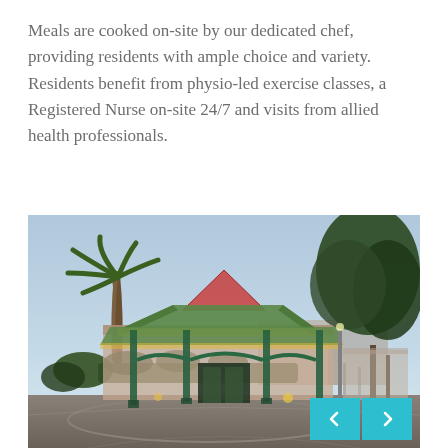Meals are cooked on-site by our dedicated chef, providing residents with ample choice and variety. Residents benefit from physio-led exercise classes, a Registered Nurse on-site 24/7 and visits from allied health professionals.
[Figure (photo): Exterior photo of an aged care facility at dusk/twilight showing a covered entrance canopy with green metal posts and roof structure, palm tree on the left, large trees on the right, illuminated from within, with a circular driveway in the foreground. Navigation arrows (< >) visible in bottom right corner.]